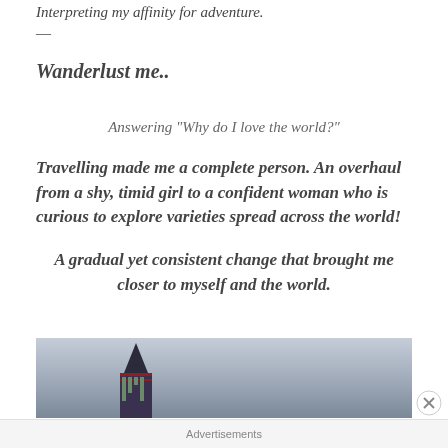Interpreting my affinity for adventure.
—
Wanderlust me..
Answering “Why do I love the world?”
Travelling made me a complete person. An overhaul from a shy, timid girl to a confident woman who is curious to explore varieties spread across the world!
A gradual yet consistent change that brought me closer to myself and the world.
[Figure (photo): Partial view of a building tower or spire against a cloudy sky background]
Advertisements